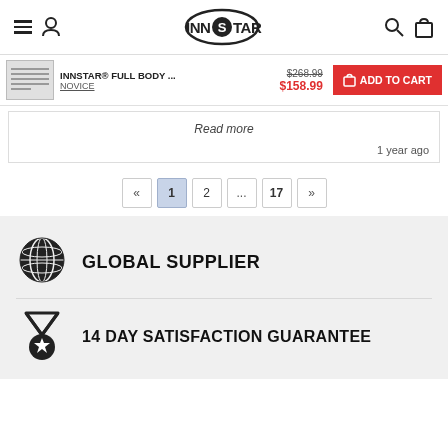INN STAR navigation header with hamburger menu, user icon, logo, search, and cart icons
INNSTAR® FULL BODY ... $268.99 $158.99 NOVICE ADD TO CART
Read more
1 year ago
« 1 2 ... 17 »
GLOBAL SUPPLIER
14 DAY SATISFACTION GUARANTEE